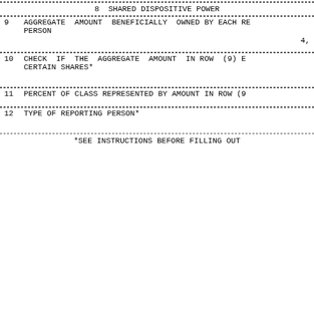| 8 | SHARED DISPOSITIVE POWER |  |
| 9 | AGGREGATE AMOUNT BENEFICIALLY OWNED BY EACH REPORTING PERSON | 4, |
| 10 | CHECK IF THE AGGREGATE AMOUNT IN ROW (9) EXCLUDES CERTAIN SHARES* |  |
| 11 | PERCENT OF CLASS REPRESENTED BY AMOUNT IN ROW (9) |  |
| 12 | TYPE OF REPORTING PERSON* |  |
*SEE INSTRUCTIONS BEFORE FILLING OUT